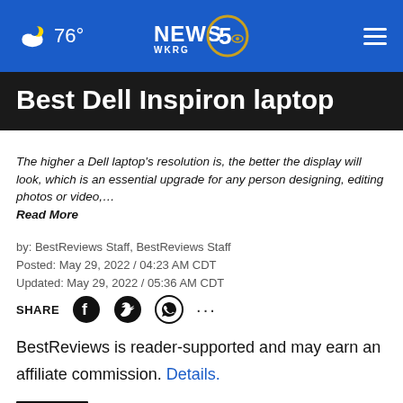76° NEWS 5 WKRG
Best Dell Inspiron laptop
The higher a Dell laptop's resolution is, the better the display will look, which is an essential upgrade for any person designing, editing photos or video,… Read More
by: BestReviews Staff, BestReviews Staff
Posted: May 29, 2022 / 04:23 AM CDT
Updated: May 29, 2022 / 05:36 AM CDT
SHARE
BestReviews is reader-supported and may earn an affiliate commission. Details.